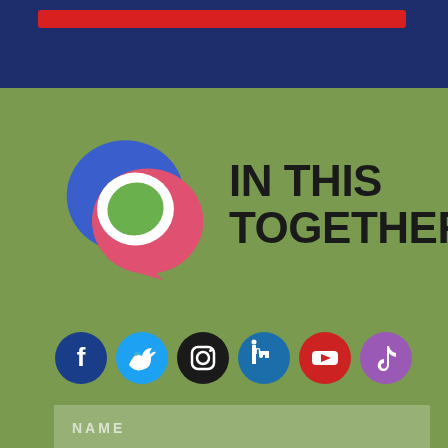[Figure (logo): Top dark navy blue banner with a red horizontal bar near the top]
[Figure (logo): In This Together logo: overlapping speech bubble shapes in blue, pink/red, and white with a green leaf, next to bold text IN THIS TOGETHER on olive/green background]
[Figure (infographic): Row of six social media icons: Facebook (dark blue), Twitter (light blue), Instagram (black), LinkedIn (blue), YouTube (red), TikTok (purple)]
NAME
ZIP